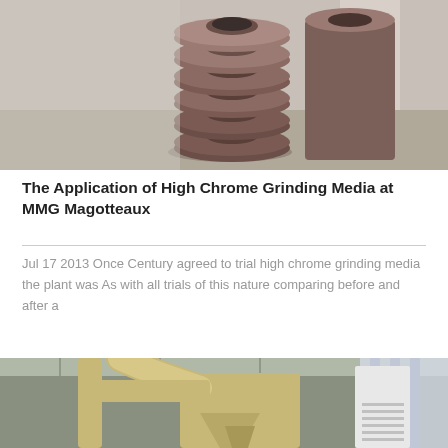[Figure (photo): Stack of dark reddish-brown donut-shaped high chrome grinding media balls stacked on a surface near a concrete wall]
The Application of High Chrome Grinding Media at MMG Magotteaux
Jul 17 2013 Once Century agreed to trial high chrome grinding media the plant was As with all trials of this nature comparing before and after a
[Figure (photo): Industrial grinding mill equipment inside a factory building, showing large beige/tan colored cylindrical machinery with pipes and structural steel]